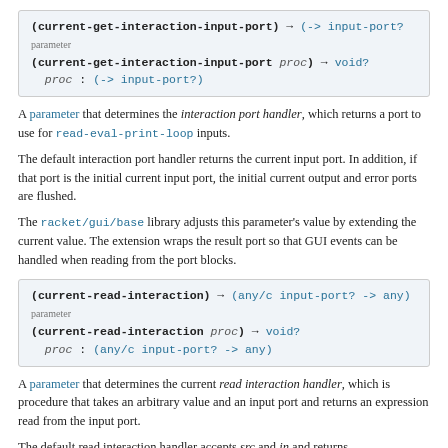(current-get-interaction-input-port) → (-> input-port?) parameter
(current-get-interaction-input-port proc) → void?
  proc : (-> input-port?)
A parameter that determines the interaction port handler, which returns a port to use for read-eval-print-loop inputs.
The default interaction port handler returns the current input port. In addition, if that port is the initial current input port, the initial current output and error ports are flushed.
The racket/gui/base library adjusts this parameter's value by extending the current value. The extension wraps the result port so that GUI events can be handled when reading from the port blocks.
(current-read-interaction) → (any/c input-port? -> any) parameter
(current-read-interaction proc) → void?
  proc : (any/c input-port? -> any)
A parameter that determines the current read interaction handler, which is procedure that takes an arbitrary value and an input port and returns an expression read from the input port.
The default read interaction handler accepts src and in and returns
(parameterize ([read-accept-reader #t]